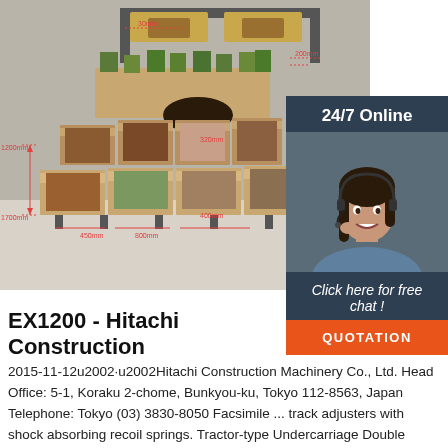[Figure (photo): 3D rendering of a modular display shelf system with wooden bins/containers, annotated with red dimension lines showing measurements. A customer service overlay on the right shows a woman with a headset, '24/7 Online' text, 'Click here for free chat!' and a QUOTATION button.]
EX1200 - Hitachi Construction
2015-11-12u2002·u2002Hitachi Construction Machinery Co., Ltd. Head Office: 5-1, Koraku 2-chome, Bunkyou-ku, Tokyo 112-8563, Japan Telephone: Tokyo (03) 3830-8050 Facsimile ... track adjusters with shock absorbing recoil springs. Tractor-type Undercarriage Double grouser track